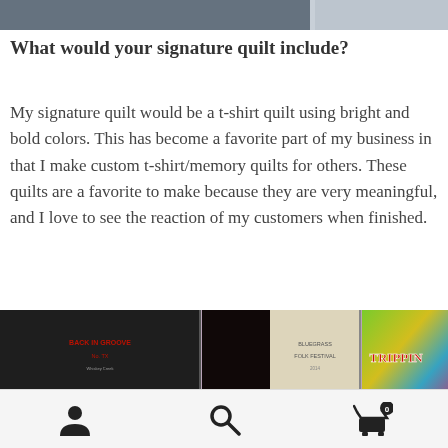[Figure (photo): Partial photo visible at top of page, cropped]
What would your signature quilt include?
My signature quilt would be a t-shirt quilt using bright and bold colors.  This has become a favorite part of my business in that I make custom t-shirt/memory quilts for others. These quilts are a favorite to make because they are very meaningful, and I love to see the reaction of my customers when finished.
[Figure (photo): Photo of t-shirt quilt panels including patches that read TRIPPIN and other text on colorful fabric]
User icon, Search icon, Cart icon with badge 0